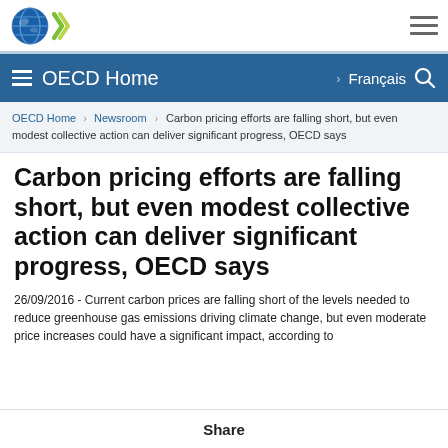[Figure (logo): OECD globe and chevron logo in top-left white header bar]
OECD Home  Français  (search icon)
OECD Home › Newsroom › Carbon pricing efforts are falling short, but even modest collective action can deliver significant progress, OECD says
Carbon pricing efforts are falling short, but even modest collective action can deliver significant progress, OECD says
26/09/2016 - Current carbon prices are falling short of the levels needed to reduce greenhouse gas emissions driving climate change, but even moderate price increases could have a significant impact, according to
Share